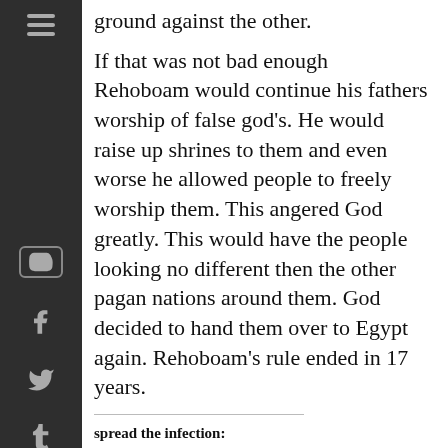ground against the other.
If that was not bad enough Rehoboam would continue his fathers worship of false god's. He would raise up shrines to them and even worse he allowed people to freely worship them. This angered God greatly. This would have the people looking no different then the other pagan nations around them. God decided to hand them over to Egypt again. Rehoboam's rule ended in 17 years.
spread the infection:
Print | Facebook | Twitter | Tumblr | Pinterest | Email | Reddit | Pocket